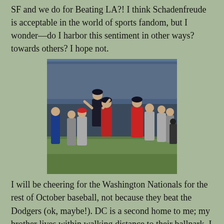SF and we do for Beating LA?! I think Schadenfreude is acceptable in the world of sports fandom, but I wonder—do I harbor this sentiment in other ways? towards others? I hope not.
[Figure (photo): Baseball celebration photo showing Washington Nationals players jumping and celebrating on the field, with players in gray and red uniforms, at what appears to be Dodger Stadium.]
I will be cheering for the Washington Nationals for the rest of October baseball, not because they beat the Dodgers (ok, maybe!). DC is a second home to me; my brother lives within walking distance to their ballpark. I think #NatsMass is one of the best connections there is between sport and spirituality. They are my second favorite team in MLB....and a very distant second at that....but I am happy for the Nats (especially without Bryce Harper!) and have always been a Scherzer fan. I hope that's ok.
A good rivalry is one aspect that makes sport so special. My day is